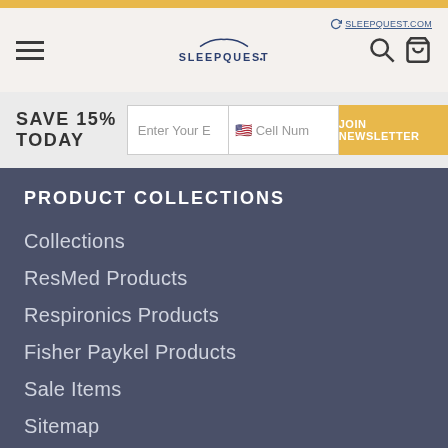SleepQuest navigation header with logo, hamburger menu, search and cart icons
SAVE 15% TODAY
Enter Your E[mail] | Cell Num[ber] | JOIN NEWSLETTER
PRODUCT COLLECTIONS
Collections
ResMed Products
Respironics Products
Fisher Paykel Products
Sale Items
Sitemap
CONTACT